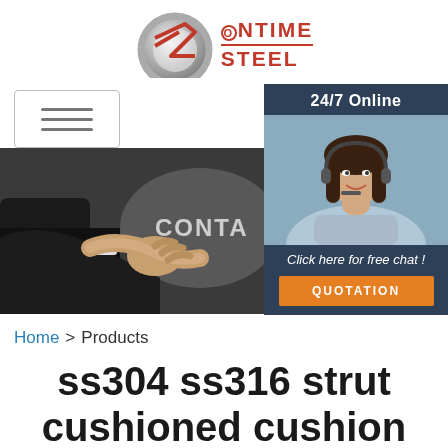[Figure (logo): OnTime Steel company logo with metallic rotating disc and red arrow graphic, text reads ONTIME STEEL]
[Figure (screenshot): Hamburger menu icon (three horizontal lines) in a rounded rectangle border]
[Figure (photo): 24/7 Online customer service widget with photo of smiling woman with headset, dark blue background, text: Click here for free chat!, orange QUOTATION button]
[Figure (photo): Hero banner photo of two people shaking hands in business attire with text CONTA partially visible]
Home > Products
ss304 ss316 strut cushioned cushion clamp